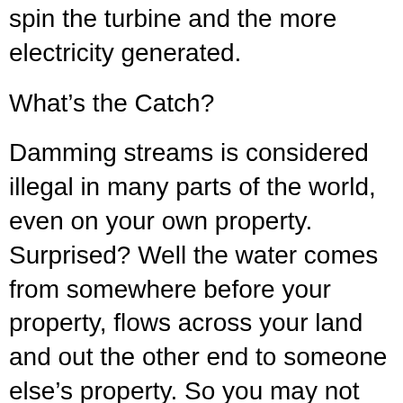spin the turbine and the more electricity generated.
What's the Catch?
Damming streams is considered illegal in many parts of the world, even on your own property. Surprised? Well the water comes from somewhere before your property, flows across your land and out the other end to someone else's property. So you may not have the right to stop the water, or even decrease its flow. Some small to mid-szed “run-of-the-river” dams are required to have fish ladders, so that seasonal spawning of trout, salmon and otohr fish species can get